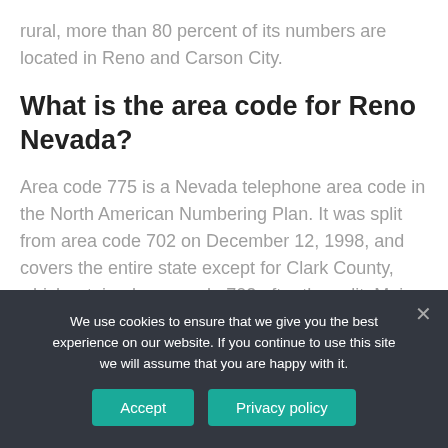rural, more than 80 percent of its numbers are located in Reno and Carson City.
What is the area code for Reno Nevada?
Area code 775 is a Nevada telephone area code in the North American Numbering Plan. It was split from area code 702 on December 12, 1998, and covers the entire state except for Clark County, which retained area code 702 after the split. Major cities in this area code
We use cookies to ensure that we give you the best experience on our website. If you continue to use this site we will assume that you are happy with it.